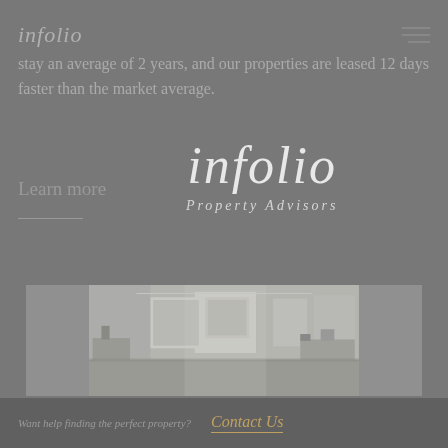infolio
stay an average of 2 years, and our properties are leased 12 days faster than the market average.
Learn more
[Figure (logo): Infolio Property Advisors logo — large italic serif wordmark 'infolio' with 'Property Advisors' subtitle below, centered overlay]
[Figure (photo): Interior room photo showing a modern living or workspace with white walls, artwork, and furniture in muted tones]
Want help finding the perfect property?  Contact Us